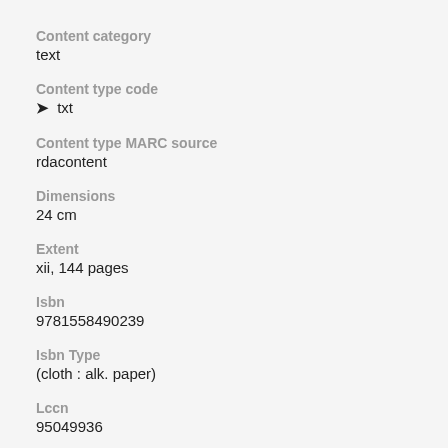Content category
text
Content type code
❯  txt
Content type MARC source
rdacontent
Dimensions
24 cm
Extent
xii, 144 pages
Isbn
9781558490239
Isbn Type
(cloth : alk. paper)
Lccn
95049936